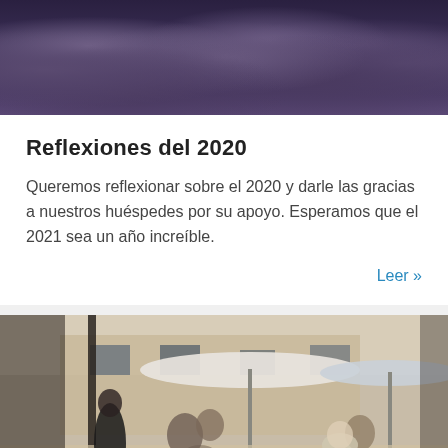[Figure (photo): Dark dramatic cloudy sky, purple/grey storm clouds filling the frame]
Reflexiones del 2020
Queremos reflexionar sobre el 2020 y darle las gracias a nuestros huéspedes por su apoyo. Esperamos que el 2021 sea un año increíble.
Leer »
[Figure (photo): Outdoor cafe terrace with people dining, stone building in background, white umbrellas, waiter serving customers]